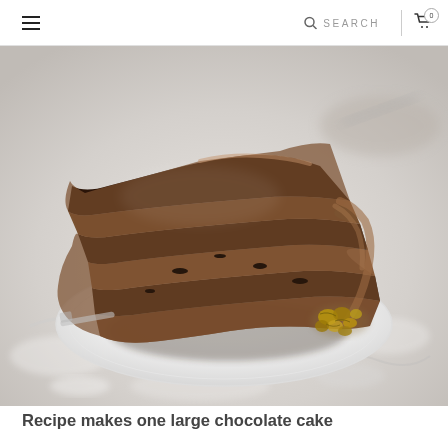≡   SEARCH  🛒 0
[Figure (photo): A slice of layered chocolate cake with chocolate mousse frosting, topped with chopped walnuts, served on a white plate on a marble surface]
Recipe makes one large chocolate cake